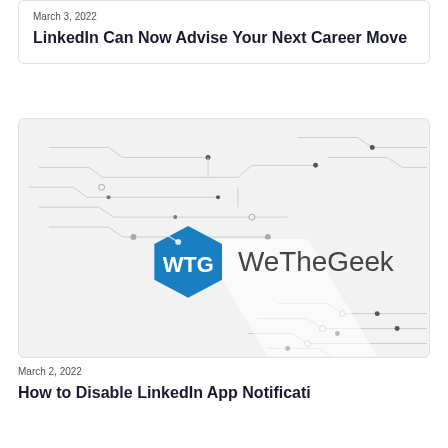March 3, 2022
LinkedIn Can Now Advise Your Next Career Move
[Figure (illustration): WeTheGeek logo centered on a light gray background with circuit board line patterns in the corners and edges]
March 2, 2022
How to Disable LinkedIn App Notifications